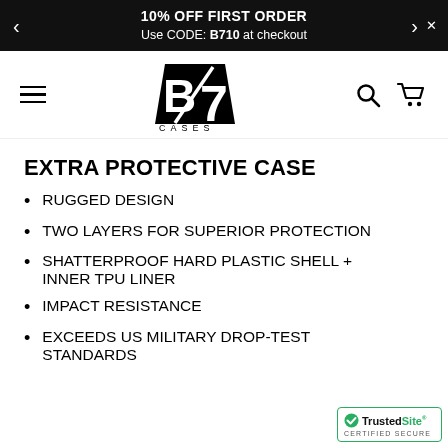10% OFF FIRST ORDER
Use CODE: B710 at checkout
[Figure (logo): B7 Cases logo — bold stylized B and 7 with a diagonal slash, text CASES below]
EXTRA PROTECTIVE CASE
RUGGED DESIGN
TWO LAYERS FOR SUPERIOR PROTECTION
SHATTERPROOF HARD PLASTIC SHELL + INNER TPU LINER
IMPACT RESISTANCE
EXCEEDS US MILITARY DROP-TEST STANDARDS